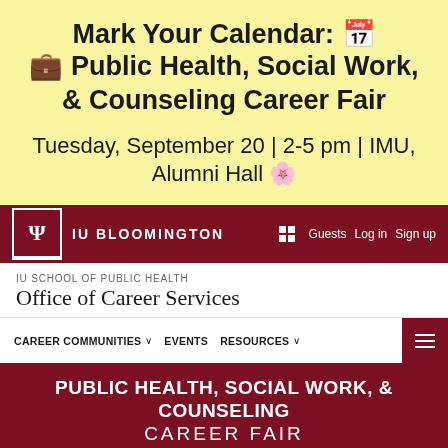Mark Your Calendar: 📅 Public Health, Social Work, & Counseling Career Fair
Tuesday, September 20 | 2-5 pm | IMU, Alumni Hall 💋
[Figure (screenshot): IU Bloomington navigation bar with IU trident logo, IU BLOOMINGTON text, grid icon, Guests, Log in, Sign up links]
IU SCHOOL OF PUBLIC HEALTH
Office of Career Services
[Figure (screenshot): Navigation menu with CAREER COMMUNITIES, EVENTS, RESOURCES and hamburger menu icon]
PUBLIC HEALTH, SOCIAL WORK, & COUNSELING CAREER FAIR
Indiana Memorial Union
September 20
2-5pm
Hosted by Indiana University Schools of Public Health, Social Work & Education